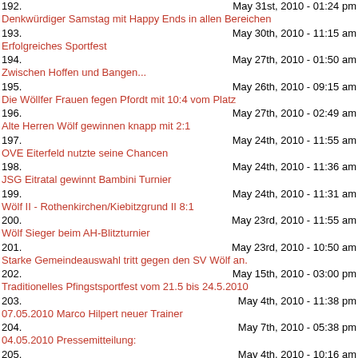192. Denkwürdiger Samstag mit Happy Ends in allen Bereichen — May 31st, 2010 - 01:24 pm
193. Erfolgreiches Sportfest — May 30th, 2010 - 11:15 am
194. Zwischen Hoffen und Bangen... — May 27th, 2010 - 01:50 am
195. Die Wöllfer Frauen fegen Pfordt mit 10:4 vom Platz — May 26th, 2010 - 09:15 am
196. Alte Herren Wölf gewinnen knapp mit 2:1 — May 27th, 2010 - 02:49 am
197. OVE Eiterfeld nutzte seine Chancen — May 24th, 2010 - 11:55 am
198. JSG Eitratal gewinnt Bambini Turnier — May 24th, 2010 - 11:36 am
199. Wölf II - Rothenkirchen/Kiebitzgrund II 8:1 — May 24th, 2010 - 11:31 am
200. Wölf Sieger beim AH-Blitzturnier — May 23rd, 2010 - 11:55 am
201. Starke Gemeindeauswahl tritt gegen den SV Wölf an. — May 23rd, 2010 - 10:50 am
202. Traditionelles Pfingstsportfest vom 21.5 bis 24.5.2010 — May 15th, 2010 - 03:00 pm
203. 07.05.2010 Marco Hilpert neuer Trainer — May 4th, 2010 - 11:38 pm
204. 04.05.2010 Pressemitteilung: — May 7th, 2010 - 05:38 pm
205. Freitagsspiel der Frauen: Jedes Tor zaehlt! — May 4th, 2010 - 10:16 am
206. Frauen und Zwote wieder erfolgreich. — April 28th, 2010 - 08:22 am
207. Wir packen das. — April 26th, 2010 - 09:49 pm
208. — April 19th, 2010 - 10:29 am